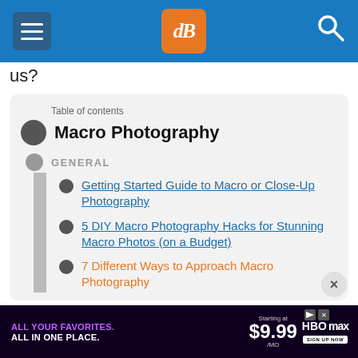dPS (Digital Photography School) navigation header with hamburger menu, logo, and search icon
us?
Table of contents
Macro Photography
GENERAL
Getting Started Guide to Macro or Close-Up Photography
5 DIY Macro Photography Hacks for Stunning Macro Photos (on a Budget)
7 Different Ways to Approach Macro Photography
[Figure (screenshot): HBO Max advertisement banner: ALL YOUR FAVORITES. ALL IN ONE PLACE. Starting at $9.99/MO with HBO Max logo and SIGN UP NOW button]